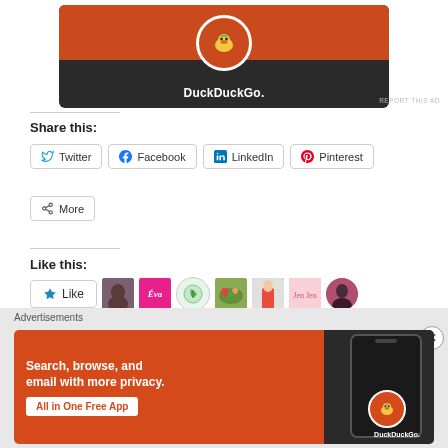[Figure (screenshot): DuckDuckGo advertisement banner at top showing dark phone mockup with orange background and duck logo, text 'DuckDuckGo.']
REPORT THIS AD
Share this:
Twitter  Facebook  LinkedIn  Pinterest  More
Like this:
[Figure (screenshot): Like button and 7 blogger avatars]
7 bloggers like this.
Advertisements
[Figure (screenshot): DuckDuckGo advertisement: 'Search, browse, and email with more privacy. All in One Free App' with phone showing DuckDuckGo app]